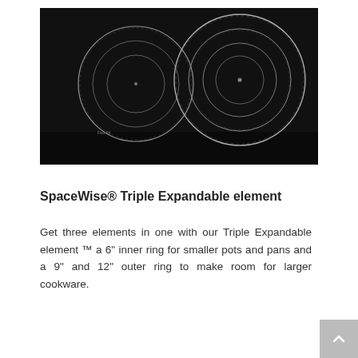[Figure (photo): Black glass ceramic cooktop with two burners: a smaller burner on the left with concentric circular ring markings, and a larger burner on the right with three concentric ring markings indicating a triple expandable element.]
SpaceWise® Triple Expandable element
Get three elements in one with our Triple Expandable element ™ a 6" inner ring for smaller pots and pans and a 9" and 12" outer ring to make room for larger cookware.